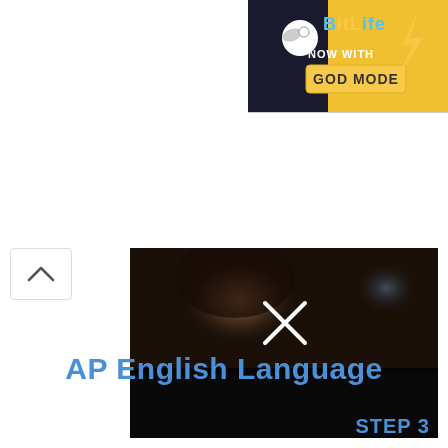[Figure (screenshot): BitLife advertisement banner with text 'NOW WITH GOD MODE' on a dark/yellow background with logo]
[Figure (photo): Dark cinematic photo of a woman looking to the side in what appears to be a movie theater or dark venue, with a white X overlay in the center. A blurred figure is visible in the background.]
AP English Language
STEP 3